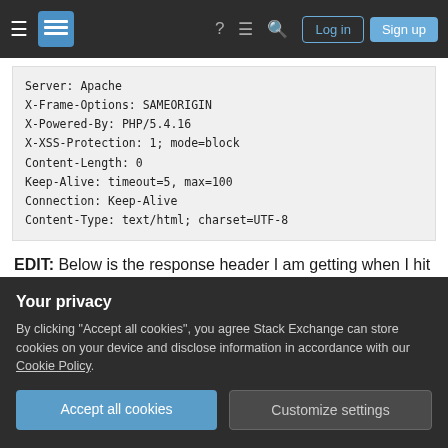Stack Exchange navigation bar with login and sign up buttons
Server: Apache
X-Frame-Options: SAMEORIGIN
X-Powered-By: PHP/5.4.16
X-XSS-Protection: 1; mode=block
Content-Length: 0
Keep-Alive: timeout=5, max=100
Connection: Keep-Alive
Content-Type: text/html; charset=UTF-8
EDIT: Below is the response header I am getting when I hit a page that truly does not exist.
HTTP/1.1 404 Not Found
Your privacy
By clicking "Accept all cookies", you agree Stack Exchange can store cookies on your device and disclose information in accordance with our Cookie Policy.
Accept all cookies
Customize settings